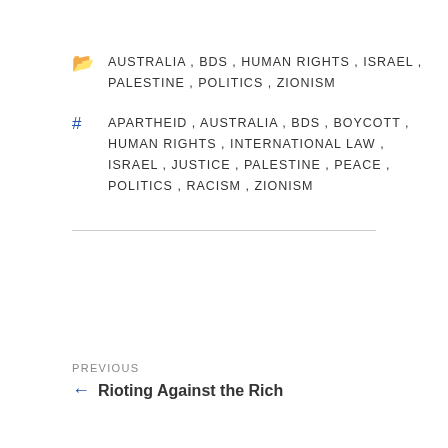AUSTRALIA, BDS, HUMAN RIGHTS, ISRAEL, PALESTINE, POLITICS, ZIONISM
APARTHEID, AUSTRALIA, BDS, BOYCOTT, HUMAN RIGHTS, INTERNATIONAL LAW, ISRAEL, JUSTICE, PALESTINE, PEACE, POLITICS, RACISM, ZIONISM
PREVIOUS
← Rioting Against the Rich
NEXT